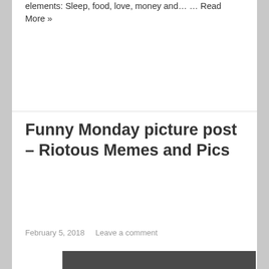elements: Sleep, food, love, money and… … Read More »
Funny Monday picture post – Riotous Memes and Pics
February 5, 2018   Leave a comment
[Figure (photo): Meme image on dark gray background with text: TODAY IS MONDAY. Let's gain time and assume the answer to any of your qu... will be "No" and "F*ck O..."]
infolinks